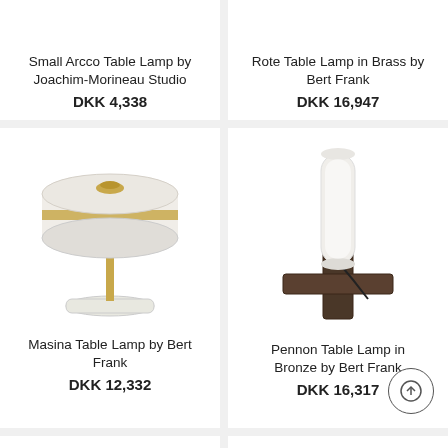Small Arcco Table Lamp by Joachim-Morineau Studio
DKK 4,338
Rote Table Lamp in Brass by Bert Frank
DKK 16,947
[Figure (photo): Masina Table Lamp by Bert Frank — a white disc-shaped shade with brass ring detail on a brass stem and white marble base]
[Figure (photo): Pennon Table Lamp in Bronze by Bert Frank — a tall cylindrical white glass shade mounted on a dark bronze cross-shaped base]
Masina Table Lamp by Bert Frank
DKK 12,332
Pennon Table Lamp in Bronze by Bert Frank
DKK 16,317